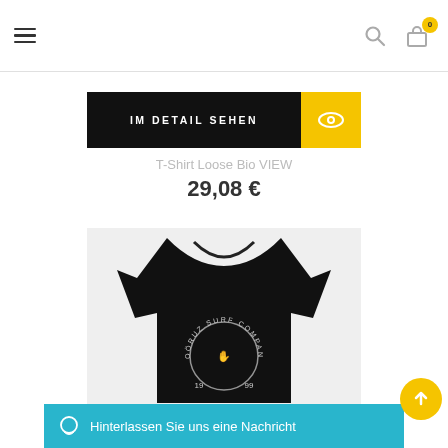Navigation header with hamburger menu, search icon, and cart icon with badge 0
[Figure (screenshot): Black button labeled IM DETAIL SEHEN with yellow eye icon button on the right]
T-Shirt Loose Bio VIEW
29,08 €
[Figure (photo): Black t-shirt with Soöruz Surf Company 1999 skeleton hands graphic on the back, on a light grey background]
Hinterlassen Sie uns eine Nachricht